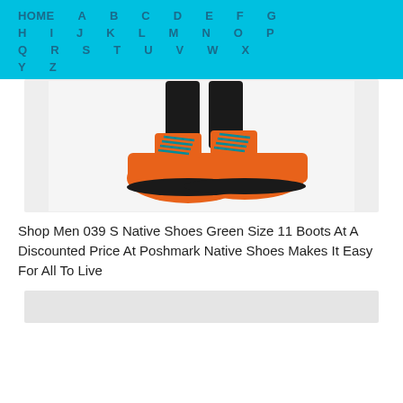HOME  A  B  C  D  E  F  G  H  I  J  K  L  M  N  O  P  Q  R  S  T  U  V  W  X  Y  Z
[Figure (photo): Person wearing orange Native hiking boots with teal/black laces and black pants, photographed from the shins down on a white background.]
Shop Men 039 S Native Shoes Green Size 11 Boots At A Discounted Price At Poshmark Native Shoes Makes It Easy For All To Live